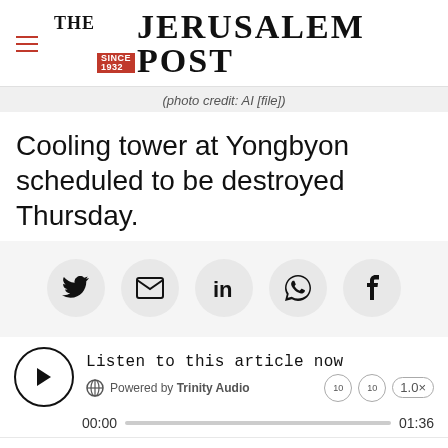THE JERUSALEM POST
(photo credit: AI [file])
Cooling tower at Yongbyon scheduled to be destroyed Thursday.
[Figure (infographic): Social share buttons: Twitter, Email, LinkedIn, WhatsApp, Facebook]
[Figure (infographic): Audio player: Listen to this article now, Powered by Trinity Audio, 00:00 / 01:36, 1.0x speed]
A US diplomat will head to North Korea to watch
Advertisement